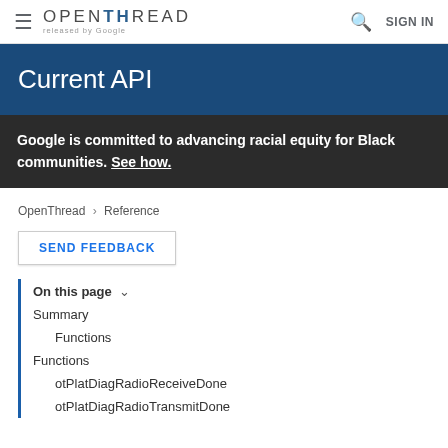≡ OPENTHREAD released by Google  🔍  SIGN IN
Current API
Google is committed to advancing racial equity for Black communities. See how.
OpenThread > Reference
SEND FEEDBACK
On this page ∨
Summary
Functions
Functions
otPlatDiagRadioReceiveDone
otPlatDiagRadioTransmitDone